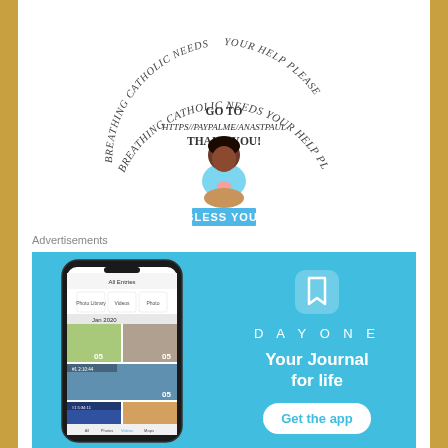[Figure (logo): Circular arc text reading 'BREATHING CATHOLIC NEEDS YOUR HELP PLEASE GO TO HTTPS//PAYPALME/ANASTPAUL THANK YOU!' around a praying child figure with 'BLESS YOU!' banner]
Advertisements
[Figure (screenshot): Advertisement for Day One app showing a phone screenshot of the app's journal entries interface with photos, and the Day One logo, tagline 'Your Journal for life', and a 'Get the app' button on a sky blue background]